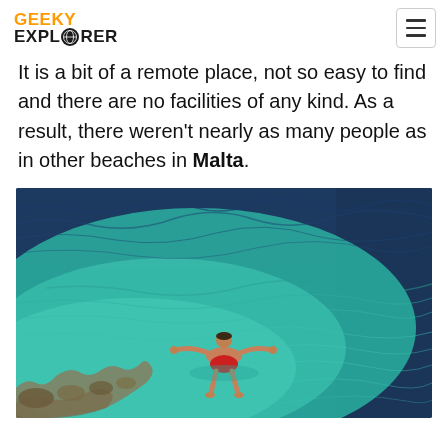GEEKY EXPLORER
It is a bit of a remote place, not so easy to find and there are no facilities of any kind. As a result, there weren't nearly as many people as in other beaches in Malta.
[Figure (photo): Person floating on their back in clear turquoise/teal Mediterranean water near rocky shore, viewed from above]